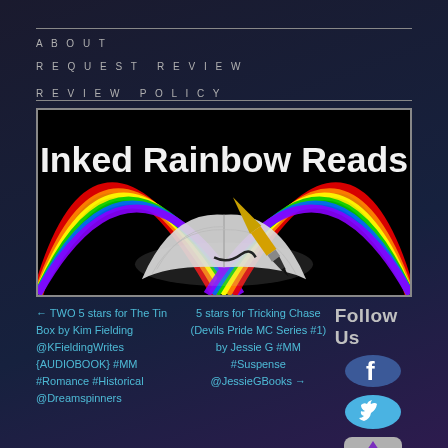ABOUT   REQUEST REVIEW   REVIEW POLICY
[Figure (illustration): Inked Rainbow Reads blog banner: black background with a rainbow arc on left, open book with a gold fountain pen writing, white handwritten-style title text 'Inked Rainbow Reads']
← TWO 5 stars for The Tin Box by Kim Fielding @KFieldingWrites {AUDIOBOOK} #MM #Romance #Historical @Dreamspinners
5 stars for Tricking Chase (Devils Pride MC Series #1) by Jessie G #MM #Suspense @JessieGBooks →
Follow Us
Subscribe to Blog via